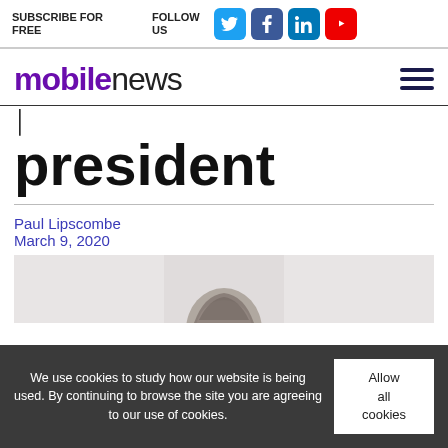SUBSCRIBE FOR FREE   FOLLOW US
mobile news
president
Paul Lipscombe
March 9, 2020
[Figure (photo): Partial view of a person's head from above, gray background]
We use cookies to study how our website is being used. By continuing to browse the site you are agreeing to our use of cookies.